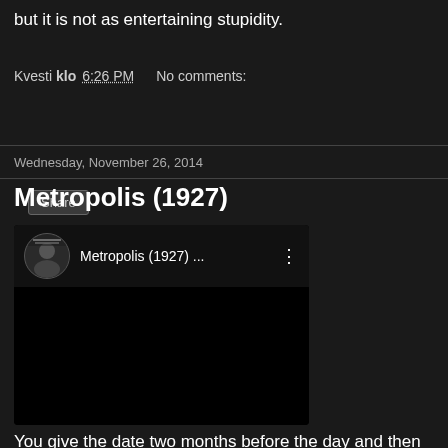but it is not as entertaining stupidity.
Kvesti klo 6:26 PM   No comments:
Share
Wednesday, November 26, 2014
Metropolis (1927)
[Figure (screenshot): YouTube video embed showing 'Metropolis (1927) ...' with a user avatar icon, video title, three-dot menu, and a black video area below]
You give the date two months before the day and then